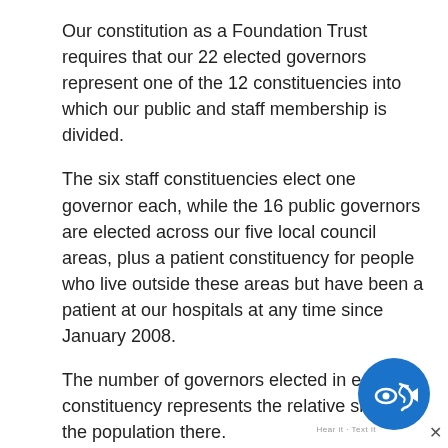Our constitution as a Foundation Trust requires that our 22 elected governors represent one of the 12 constituencies into which our public and staff membership is divided.
The six staff constituencies elect one governor each, while the 16 public governors are elected across our five local council areas, plus a patient constituency for people who live outside these areas but have been a patient at our hospitals at any time since January 2008.
The number of governors elected in each constituency represents the relative size of the population there.
Horsham has fewer governors to reflect the smaller proportion of the district's population that uses Western Sussex Hospitals due to the